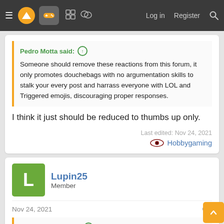Navigation bar with menu, logo, gamepad icon, forum icons, Log in, Register, Search
Pedro Motta said: Someone should remove these reactions from this forum, it only promotes douchebags with no argumentation skills to stalk your every post and harrass everyone with LOL and Triggered emojis, discouraging proper responses.
I think it just should be reduced to thumbs up only.
Last edited: Nov 24, 2021
Hobbygaming
Lupin25
Member
Nov 24, 2021
Hobbygaming said: